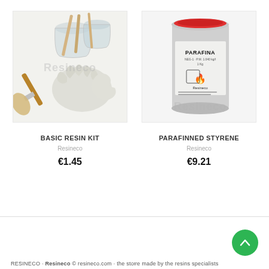[Figure (photo): Photo of a Basic Resin Kit including plastic mixing cups, wooden stir sticks, a paint brush, and rubber gloves on a white background, with a faint 'Resineco' watermark overlay.]
BASIC RESIN KIT
Resineco
€1.45
[Figure (photo): Photo of a grey metal can labeled 'PARAFINA 1 Kg' with a hazard symbol (flame), and a Resineco brand label, with a faint 'Resineco' watermark overlay.]
PARAFINNED STYRENE
Resineco
€9.21
RESINECO · Scroll up button